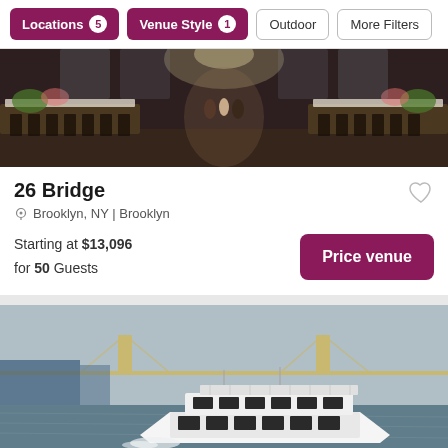Locations 5 | Venue Style 1 | Outdoor | More Filters
[Figure (photo): Indoor wedding venue with long banquet tables set for a reception, guests in attendance, floral decorations, large windows in background]
26 Bridge
Brooklyn, NY | Brooklyn
Starting at $13,096 for 50 Guests
[Figure (photo): White luxury yacht cruising on water under a bridge, blue sky background, industrial pier visible]